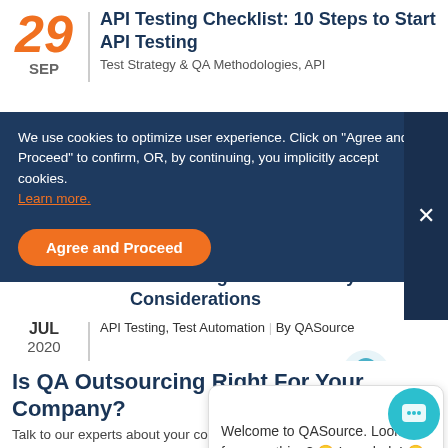29
API Testing Checklist: 10 Steps to Start API Testing
Test Strategy & QA Methodologies, API
We use cookies to optimize user experience. Click on "Agree and Proceed" to confirm, OR, by continuing, you implicitly accept cookies. Learn more.
Agree and Proceed
API Testing Tutorial: 4 Key Considerations
JUL 2020
API Testing, Test Automation | By QASource
Welcome to QASource. Looking for something? 🙂 I can help! 🙂
Is QA Outsourcing Right For Your Company?
Talk to our experts about your company's QA testing